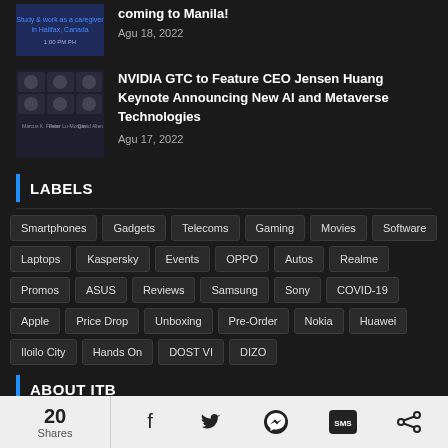[Figure (photo): Thumbnail image - blue promotional banner for study and work as a caregiver in Halifax, Canada event]
coming to Manila!
Agu 18, 2022
[Figure (photo): Thumbnail grid showing 6 speaker headshots for NVIDIA GTC event]
NVIDIA GTC to Feature CEO Jensen Huang Keynote Announcing New AI and Metaverse Technologies
Agu 17, 2022
LABELS
Smartphones
Gadgets
Telecoms
Gaming
Movies
Software
Laptops
Kaspersky
Events
OPPO
Autos
Realme
Promos
ASUS
Reviews
Samsung
Sony
COVID-19
Apple
Price Drop
Unboxing
Pre-Order
Nokia
Huawei
Iloilo City
Hands On
DOST VI
DIZO
ABOUT ITB
20 Shares